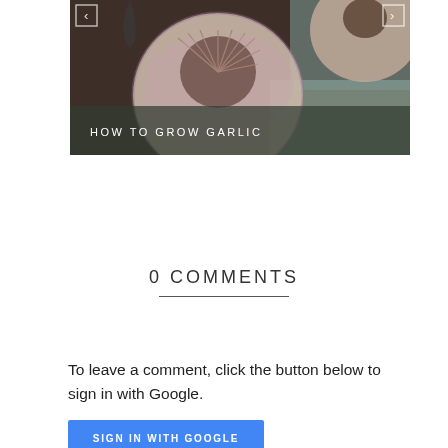[Figure (photo): A photograph of garlic bulbs with text overlay 'HOW TO GROW GARLIC' and navigation arrows on a dark semi-transparent bar at the bottom of the image.]
0 COMMENTS
To leave a comment, click the button below to sign in with Google.
SIGN IN WITH GOOGLE